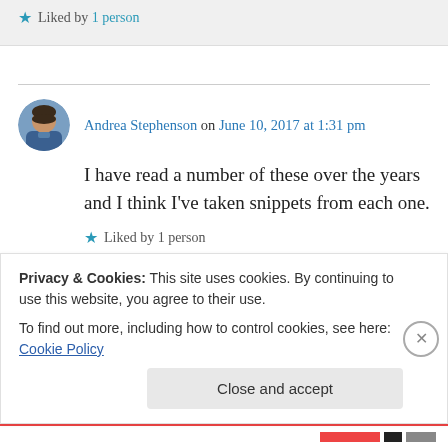★ Liked by 1 person
Andrea Stephenson on June 10, 2017 at 1:31 pm
I have read a number of these over the years and I think I've taken snippets from each one.
★ Liked by 1 person
Privacy & Cookies: This site uses cookies. By continuing to use this website, you agree to their use.
To find out more, including how to control cookies, see here: Cookie Policy
Close and accept